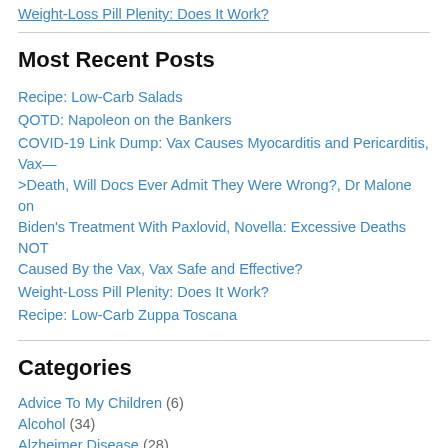Weight-Loss Pill Plenity: Does It Work?
Most Recent Posts
Recipe: Low-Carb Salads
QOTD: Napoleon on the Bankers
COVID-19 Link Dump: Vax Causes Myocarditis and Pericarditis, Vax—>Death, Will Docs Ever Admit They Were Wrong?, Dr Malone on Biden's Treatment With Paxlovid, Novella: Excessive Deaths NOT Caused By the Vax, Vax Safe and Effective?
Weight-Loss Pill Plenity: Does It Work?
Recipe: Low-Carb Zuppa Toscana
Categories
Advice To My Children (6)
Alcohol (34)
Alzheimer Disease (28)